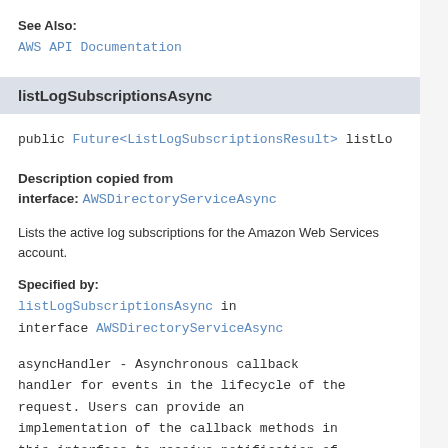See Also:
AWS API Documentation
listLogSubscriptionsAsync
public Future<ListLogSubscriptionsResult> listLo
Description copied from interface: AWSDirectoryServiceAsync
Lists the active log subscriptions for the Amazon Web Services account.
Specified by:
listLogSubscriptionsAsync in interface AWSDirectoryServiceAsync
asyncHandler - Asynchronous callback handler for events in the lifecycle of the request. Users can provide an implementation of the callback methods in this interface to receive notification of